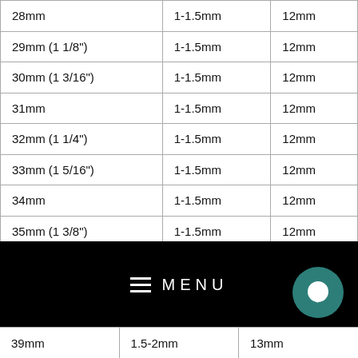| 28mm | 1-1.5mm | 12mm |
| 29mm (1 1/8") | 1-1.5mm | 12mm |
| 30mm (1 3/16") | 1-1.5mm | 12mm |
| 31mm | 1-1.5mm | 12mm |
| 32mm (1 1/4") | 1-1.5mm | 12mm |
| 33mm (1 5/16") | 1-1.5mm | 12mm |
| 34mm | 1-1.5mm | 12mm |
| 35mm (1 3/8") | 1-1.5mm | 12mm |
| 36mm | 1-1.5mm | 12mm |
| 39mm | 1.5-2mm | 13mm |